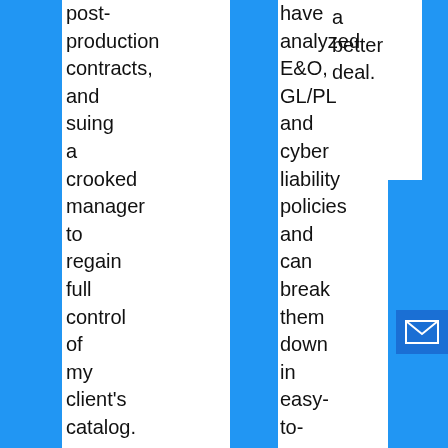post-production contracts, and suing a crooked manager to regain full control of my client's catalog.
have analyzed E&O, GL/PL and cyber liability policies and can break them down in easy-to-
a better deal.